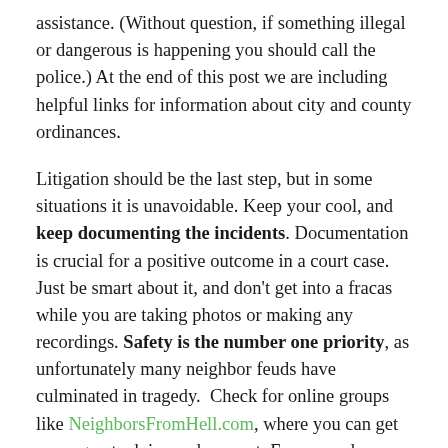assistance. (Without question, if something illegal or dangerous is happening you should call the police.) At the end of this post we are including helpful links for information about city and county ordinances.

Litigation should be the last step, but in some situations it is unavoidable. Keep your cool, and keep documenting the incidents. Documentation is crucial for a positive outcome in a court case. Just be smart about it, and don't get into a fracas while you are taking photos or making any recordings. Safety is the number one priority, as unfortunately many neighbor feuds have culminated in tragedy. Check for online groups like NeighborsFromHell.com, where you can get some great advice and support. Everyone deserves to feel at peace in their home, and there are ways to bring that peace